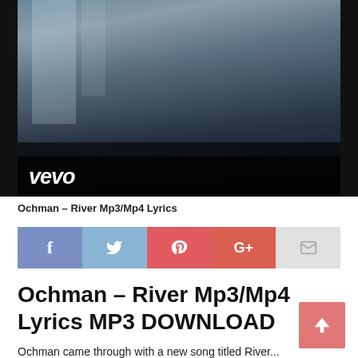[Figure (photo): Vevo music video thumbnail showing a young man in dark clothing looking down, with window light in background. Vevo logo visible in lower left of video frame.]
Ochman – River Mp3/Mp4 Lyrics
[Figure (infographic): Social share buttons row: Facebook (blue), Twitter (light blue), Pinterest (red), Google+ (red-orange), Email (light gray)]
Ochman – River Mp3/Mp4 Lyrics MP3 DOWNLOAD
Ochman came through with a new song titled River...